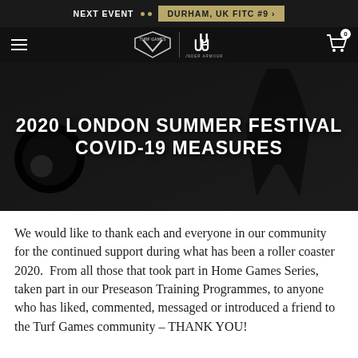NEXT EVENT • • DURHAM, UK FITC #9 >
[Figure (logo): Navigation bar with hamburger menu, Turf Games and Under Armour logos, and cart icon with badge showing 0]
[Figure (photo): Black and white photo of an athlete running or exercising with a weight plate visible, dark overlay]
2020 LONDON SUMMER FESTIVAL COVID-19 MEASURES
We would like to thank each and everyone in our community for the continued support during what has been a roller coaster 2020.  From all those that took part in Home Games Series, taken part in our Preseason Training Programmes, to anyone who has liked, commented, messaged or introduced a friend to the Turf Games community - THANK YOU!